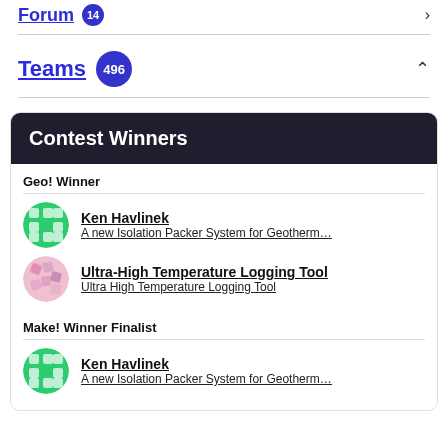Forum 14
Teams 496
Contest Winners
Geo! Winner
Ken Havlinek
A new Isolation Packer System for Geotherm…
Ultra-High Temperature Logging Tool
Ultra High Temperature Logging Tool
Make! Winner Finalist
Ken Havlinek
A new Isolation Packer System for Geotherm…